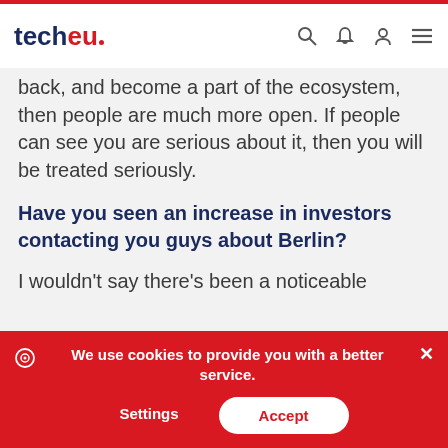tech.eu - navbar with logo and icons
back, and become a part of the ecosystem, then people are much more open. If people can see you are serious about it, then you will be treated seriously.
Have you seen an increase in investors contacting you guys about Berlin?
I wouldn't say there's been a noticeable
We use cookies to provide you with a better service.
Settings
Accept